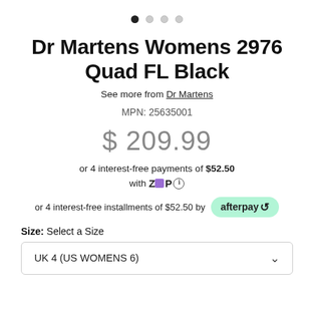[Figure (other): Four pagination dots: first dot filled black, remaining three empty/grey]
Dr Martens Womens 2976 Quad FL Black
See more from Dr Martens
MPN: 25635001
$ 209.99
or 4 interest-free payments of $52.50 with ZIP ℹ
or 4 interest-free installments of $52.50 by afterpay
Size: Select a Size
UK 4 (US WOMENS 6)